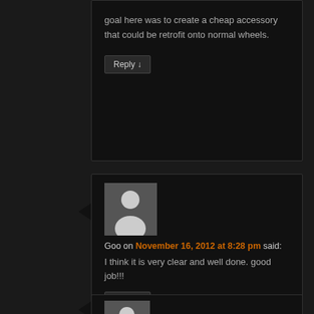goal here was to create a cheap accessory that could be retrofit onto normal wheels.
Reply ↓
[Figure (illustration): User avatar placeholder - grey silhouette of a person on grey background]
Goo on November 16, 2012 at 8:28 pm said:
I think it is very clear and well done. good job!!!
Reply ↓
[Figure (illustration): User avatar placeholder - grey silhouette of a person on grey background (partial)]